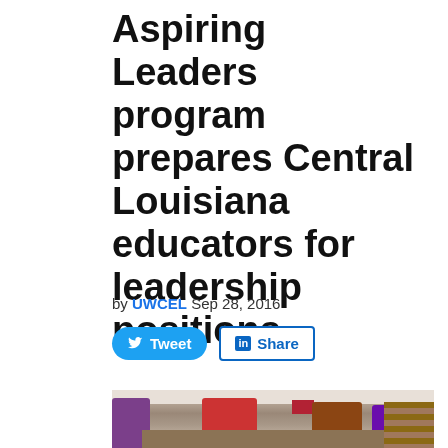Aspiring Leaders program prepares Central Louisiana educators for leadership positions
by UWCEL Sep 28, 2016
[Figure (other): Twitter Tweet button (blue rounded) and LinkedIn Share button (blue outlined)]
[Figure (photo): Classroom scene showing educators seated at tables writing or studying, with an American flag visible in the background and bookshelves on the right side. An instructor in purple stands at left.]